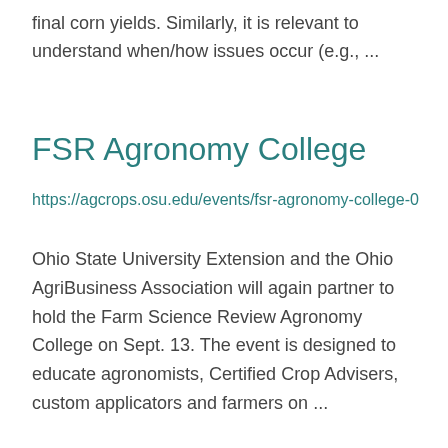final corn yields. Similarly, it is relevant to understand when/how issues occur (e.g., ...
FSR Agronomy College
https://agcrops.osu.edu/events/fsr-agronomy-college-0
Ohio State University Extension and the Ohio AgriBusiness Association will again partner to hold the Farm Science Review Agronomy College on Sept. 13. The event is designed to educate agronomists, Certified Crop Advisers, custom applicators and farmers on ...